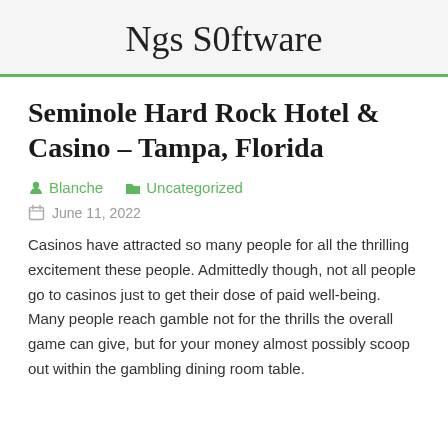Ngs S0ftware
Seminole Hard Rock Hotel & Casino – Tampa, Florida
Blanche   Uncategorized
June 11, 2022
Casinos have attracted so many people for all the thrilling excitement these people. Admittedly though, not all people go to casinos just to get their dose of paid well-being. Many people reach gamble not for the thrills the overall game can give, but for your money almost possibly scoop out within the gambling dining room table.